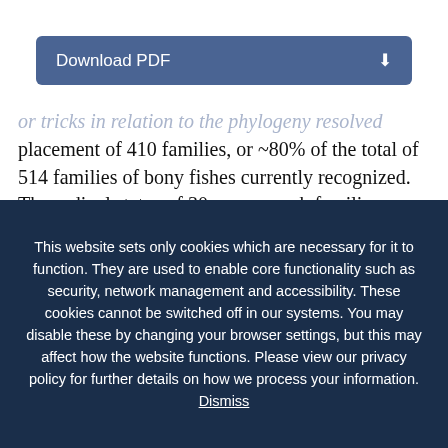[Figure (other): Download PDF button with blue background and download icon]
or tricks in relation to the phylogeny resolved placement of 410 families, or ~80% of the total of 514 families of bony fishes currently recognized. The ordinal status of 30 percomorph families included in this study, however, remains uncertain (incertae sedis in the series Carangaria, Ovalentaria, or Eupercaria). Comments to
This website sets only cookies which are necessary for it to function. They are used to enable core functionality such as security, network management and accessibility. These cookies cannot be switched off in our systems. You may disable these by changing your browser settings, but this may affect how the website functions. Please view our privacy policy for further details on how we process your information. Dismiss